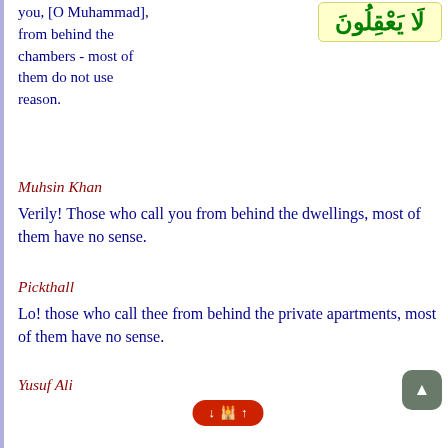you, [O Muhammad], from behind the chambers - most of them do not use reason.
[Figure (other): Arabic text in yellow box: لَا يَعْقِلُونَ]
Muhsin Khan
Verily! Those who call you from behind the dwellings, most of them have no sense.
Pickthall
Lo! those who call thee from behind the private apartments, most of them have no sense.
Yusuf Ali
Those who shout out to thee from without the inner apartments - most of them lack understanding.
Shakir
(As for) those who call out to you from behind the private